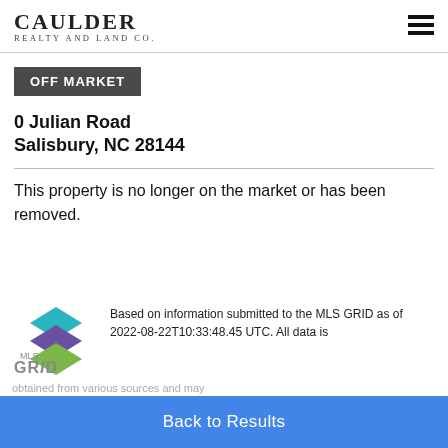CAULDER REALTY AND LAND CO.
OFF MARKET
0 Julian Road
Salisbury, NC 28144
This property is no longer on the market or has been removed.
[Figure (logo): MLS GRID logo with teal, purple, and green stacked diamond shapes and text MLS GRID]
Based on information submitted to the MLS GRID as of 2022-08-22T10:33:48.45 UTC. All data is obtained from various sources and may
Back to Results